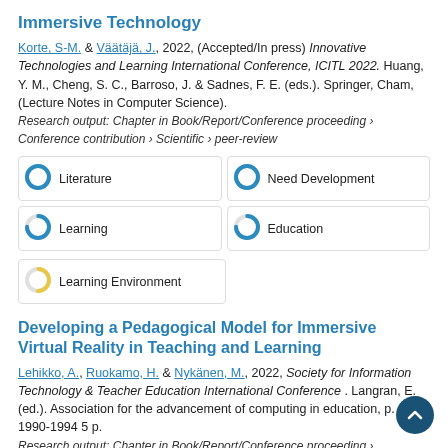Immersive Technology
Korte, S-M. & Väätäjä, J., 2022, (Accepted/In press) Innovative Technologies and Learning International Conference, ICITL 2022. Huang, Y. M., Cheng, S. C., Barroso, J. & Sadnes, F. E. (eds.). Springer, Cham, (Lecture Notes in Computer Science).
Research output: Chapter in Book/Report/Conference proceeding › Conference contribution › Scientific › peer-review
[Figure (infographic): Five keyword/topic badges: Literature 100%, Need Development 100%, Learning 75%, Education 75%, Learning Environment 50%]
Developing a Pedagogical Model for Immersive Virtual Reality in Teaching and Learning
Lehikko, A., Ruokamo, H. & Nykänen, M., 2022, Society for Information Technology & Teacher Education International Conference . Langran, E. (ed.). Association for the advancement of computing in education, p. 1990-1994 5 p.
Research output: Chapter in Book/Report/Conference proceeding ›